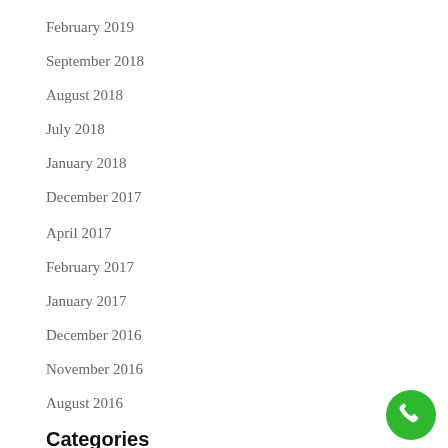February 2019
September 2018
August 2018
July 2018
January 2018
December 2017
April 2017
February 2017
January 2017
December 2016
November 2016
August 2016
Categories
Academic research writing tips